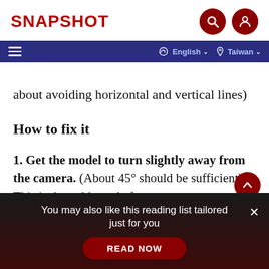SNAPSHOT
about avoiding horizontal and vertical lines)
How to fix it
1. Get the model to turn slightly away from the camera. (About 45° should be sufficient). This is the golden rule for
You may also like this reading list tailored just for you
READ NOW